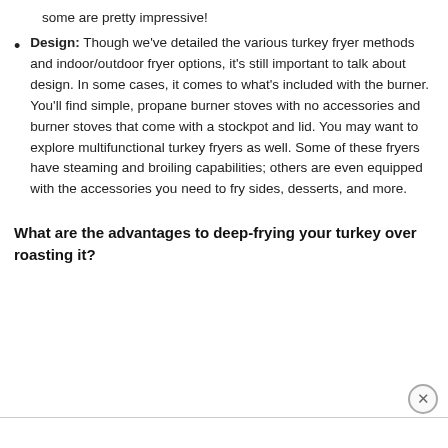some are pretty impressive!
Design: Though we've detailed the various turkey fryer methods and indoor/outdoor fryer options, it's still important to talk about design. In some cases, it comes to what's included with the burner. You'll find simple, propane burner stoves with no accessories and burner stoves that come with a stockpot and lid. You may want to explore multifunctional turkey fryers as well. Some of these fryers have steaming and broiling capabilities; others are even equipped with the accessories you need to fry sides, desserts, and more.
What are the advantages to deep-frying your turkey over roasting it?